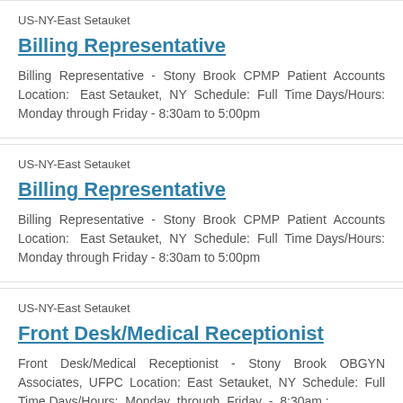US-NY-East Setauket
Billing Representative
Billing Representative - Stony Brook CPMP Patient Accounts Location: East Setauket, NY Schedule: Full Time Days/Hours: Monday through Friday - 8:30am to 5:00pm
US-NY-East Setauket
Billing Representative
Billing Representative - Stony Brook CPMP Patient Accounts Location: East Setauket, NY Schedule: Full Time Days/Hours: Monday through Friday - 8:30am to 5:00pm
US-NY-East Setauket
Front Desk/Medical Receptionist
Front Desk/Medical Receptionist - Stony Brook OBGYN Associates, UFPC Location: East Setauket, NY Schedule: Full Time Days/Hours: Monday through Friday - 8:30am :...